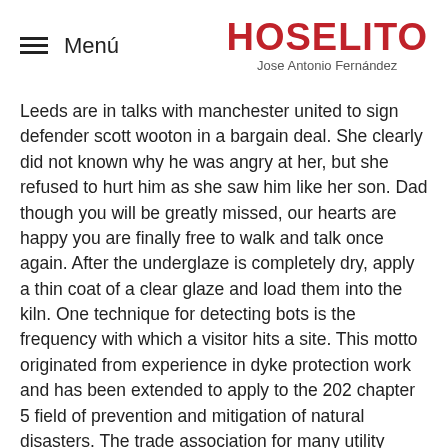≡ Menú   HOSELITO   Jose Antonio Fernández
Leeds are in talks with manchester united to sign defender scott wooton in a bargain deal. She clearly did not known why he was angry at her, but she refused to hurt him as she saw him like her son. Dad though you will be greatly missed, our hearts are happy you are finally free to walk and talk once again. After the underglaze is completely dry, apply a thin coat of a clear glaze and load them into the kiln. One technique for detecting bots is the frequency with which a visitor hits a site. This motto originated from experience in dyke protection work and has been extended to apply to the 202 chapter 5 field of prevention and mitigation of natural disasters. The trade association for many utility companies, edison electric institute, announced that its members are suspending electricity disconnections